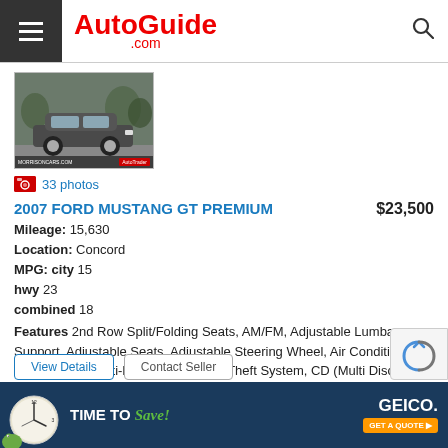AutoGuide.com
[Figure (photo): Morrison Motor Cars dealership photo of a dark grey 2007 Ford Mustang GT Premium]
33 photos
2007 FORD MUSTANG GT PREMIUM   $23,500
Mileage: 15,630
Location: Concord
MPG: city 15
hwy 23
combined 18
Features 2nd Row Split/Folding Seats, AM/FM, Adjustable Lumbar Support, Adjustable Seats, Adjustable Steering Wheel, Air Conditioning, Alloy Wheels, Anti-Lock Brakes, Anti-Theft System, CD (Multi Disc), Cruise...
[Figure (photo): GEICO advertisement: Time to Save! Get a Quote button with gecko mascot]